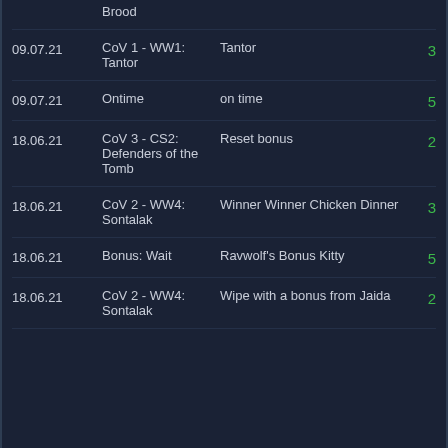Brood
09.07.21 | CoV 1 - WW1: Tantor | Tantor | 3
09.07.21 | Ontime | on time | 5
18.06.21 | CoV 3 - CS2: Defenders of the Tomb | Reset bonus | 2
18.06.21 | CoV 2 - WW4: Sontalak | Winner Winner Chicken Dinner | 3
18.06.21 | Bonus: Wait | Ravwolf's Bonus Kitty | 5
18.06.21 | CoV 2 - WW4: Sontalak | Wipe with a bonus from Jaida | 2